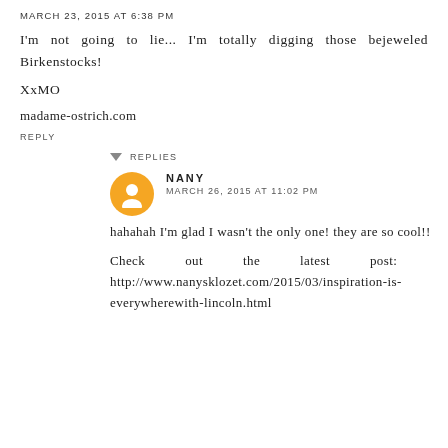MARCH 23, 2015 AT 6:38 PM
I'm not going to lie... I'm totally digging those bejeweled Birkenstocks!
XxMO
madame-ostrich.com
REPLY
REPLIES
NANY
MARCH 26, 2015 AT 11:02 PM
hahahah I'm glad I wasn't the only one! they are so cool!!
Check out the latest post: http://www.nanysklozet.com/2015/03/inspiration-is-everywherewith-lincoln.html